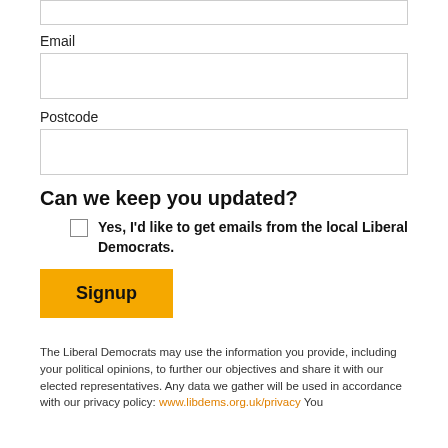[Figure (other): Empty text input box at the top of the page (partial, cropped)]
Email
[Figure (other): Empty email text input box]
Postcode
[Figure (other): Empty postcode text input box]
Can we keep you updated?
Yes, I'd like to get emails from the local Liberal Democrats.
[Figure (other): Signup button with orange background]
The Liberal Democrats may use the information you provide, including your political opinions, to further our objectives and share it with our elected representatives. Any data we gather will be used in accordance with our privacy policy: www.libdems.org.uk/privacy You